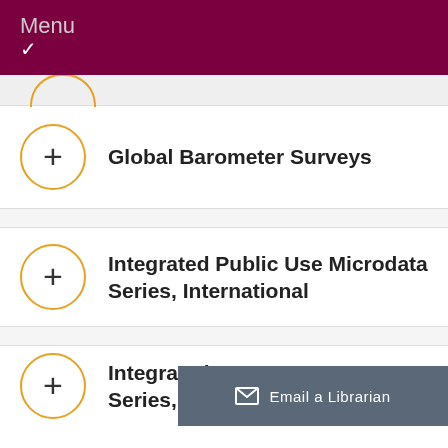Menu
Global Barometer Surveys
Integrated Public Use Microdata Series, International
Integrated Public Use Microdata Series, USA